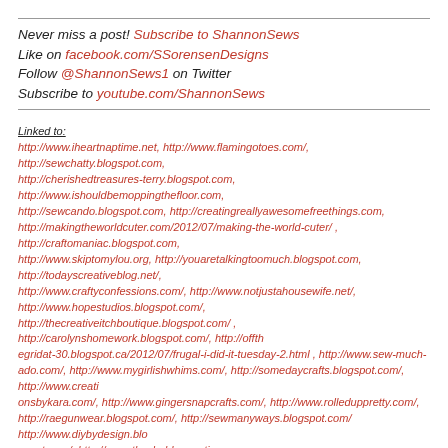Never miss a post! Subscribe to ShannonSews
Like on facebook.com/SSorensenDesigns
Follow @ShannonSews1 on Twitter
Subscribe to youtube.com/ShannonSews
Linked to:
http://www.iheartnaptime.net, http://www.flamingotoes.com/, http://sewchatty.blogspot.com, http://cherishedtreasures-terry.blogspot.com, http://www.ishouldbemoppingthefloor.com, http://sewcando.blogspot.com, http://creatingreallyawesomefreethings.com, http://makingtheworldcuter.com/2012/07/making-the-world-cuter/ , http://craftomaniac.blogspot.com, http://www.skiptomylou.org, http://youaretalkingtoomuch.blogspot.com, http://todayscreativeblog.net/, http://www.craftyconfessions.com/, http://www.notjustahousewife.net/, http://www.hopestudios.blogspot.com/, http://thecreativeitchboutique.blogspot.com/ , http://carolynshomework.blogspot.com/, http://offthegridat-30.blogspot.ca/2012/07/frugal-i-did-it-tuesday-2.html , http://www.sew-much-ado.com/, http://www.mygirlishwhims.com/, http://somedaycrafts.blogspot.com/, http://www.creationsbykara.com/, http://www.gingersnapcrafts.com/, http://www.rolleduppretty.com/, http://raegunwear.blogspot.com/, http://sewmanyways.blogspot.com/ http://www.diybydesign.blogspot.com/, http://www.theshabbycreations.com